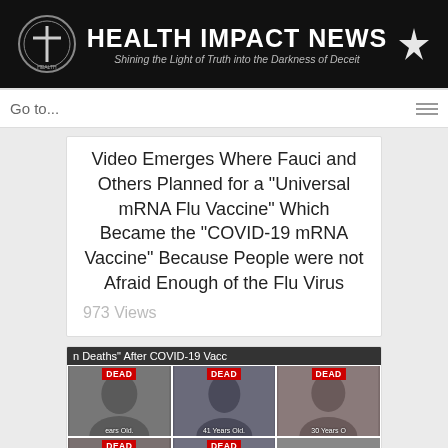HEALTH IMPACT NEWS — Shining the Light of Truth into the Darkness of Deceit
Go to...
Video Emerges Where Fauci and Others Planned for a "Universal mRNA Flu Vaccine" Which Became the "COVID-19 mRNA Vaccine" Because People were not Afraid Enough of the Flu Virus
973 Views
[Figure (photo): Grid of photos labeled DEAD of individuals described as dying after COVID-19 vaccination, with ages shown. Banner reads 'n Deaths After COVID-19 Vacc'. Shows six people in a 3x2 grid, each labeled DEAD with ages like 41 Years Old.]